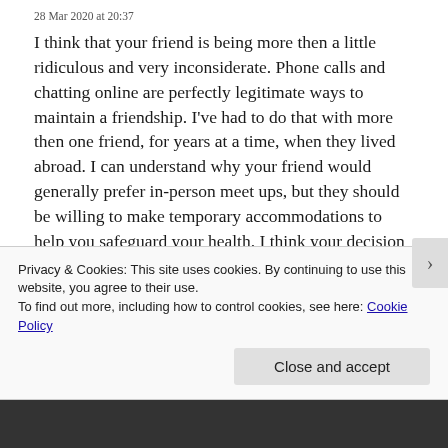28 Mar 2020 at 20:37
I think that your friend is being more then a little ridiculous and very inconsiderate. Phone calls and chatting online are perfectly legitimate ways to maintain a friendship. I've had to do that with more then one friend, for years at a time, when they lived abroad. I can understand why your friend would generally prefer in-person meet ups, but they should be willing to make temporary accommodations to help you safeguard your health. I think your decision to stay home for the time being is responsible and that they're completely in the
Privacy & Cookies: This site uses cookies. By continuing to use this website, you agree to their use.
To find out more, including how to control cookies, see here: Cookie Policy
Close and accept